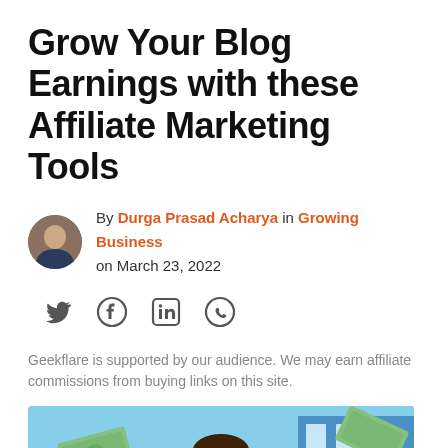Grow Your Blog Earnings with these Affiliate Marketing Tools
By Durga Prasad Acharya in Growing Business on March 23, 2022
[Figure (infographic): Social share icons: Twitter, Facebook, LinkedIn, WhatsApp]
Geekflare is supported by our audience. We may earn affiliate commissions from buying links on this site.
[Figure (photo): Hero image showing a happy person with money flying around, celebrating blog earnings]